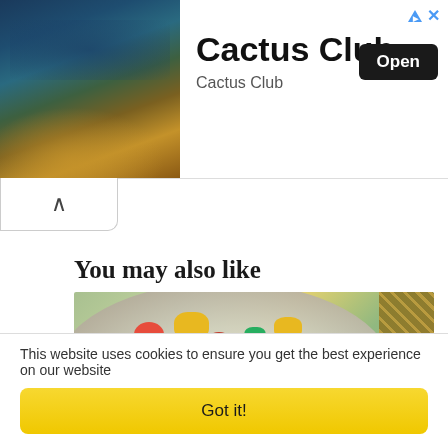[Figure (photo): Cactus Club restaurant advertisement banner with photo of restaurant interior on the left and text/button on the right]
You may also like
[Figure (photo): Colorful salad dish on a speckled ceramic plate with chopped vegetables, pomegranate seeds, corn, and a dipping sauce bowl]
This website uses cookies to ensure you get the best experience on our website
Got it!